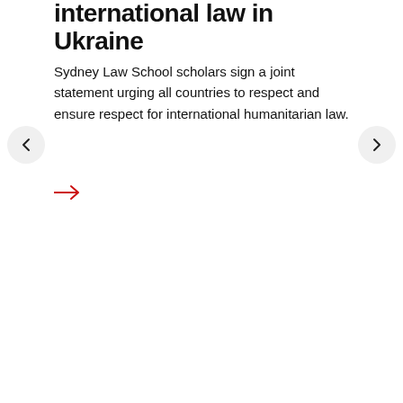international law in Ukraine
Sydney Law School scholars sign a joint statement urging all countries to respect and ensure respect for international humanitarian law.
[Figure (other): Red arrow link icon pointing right]
[Figure (other): Left navigation chevron button]
[Figure (other): Right navigation chevron button]